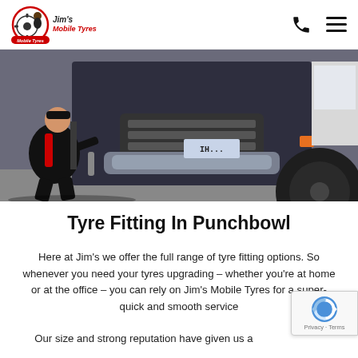Jim's Mobile Tyres — navigation header with logo, phone icon, and menu icon
[Figure (photo): A mechanic in black and red uniform crouching beside a large dark grey vehicle (truck/SUV), working on the front wheel area. A white van is partially visible on the right edge.]
Tyre Fitting In Punchbowl
Here at Jim's we offer the full range of tyre fitting options. So whenever you need your tyres upgrading – whether you're at home or at the office – you can rely on Jim's Mobile Tyres for a super-quick and smooth service.
Our size and strong reputation have given us a